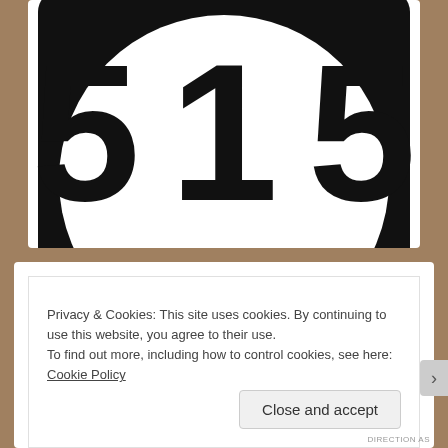[Figure (photo): Close-up of a black highway route sign with white circle containing the number 515, cropped so only the top portion showing '515' is visible against a black rounded-rectangle background.]
Privacy & Cookies: This site uses cookies. By continuing to use this website, you agree to their use.
To find out more, including how to control cookies, see here: Cookie Policy
Close and accept